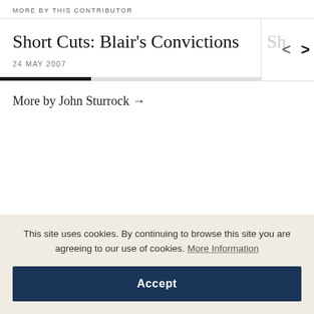MORE BY THIS CONTRIBUTOR
Short Cuts: Blair's Convictions
24 MAY 2007
More by John Sturrock →
This site uses cookies. By continuing to browse this site you are agreeing to our use of cookies. More Information
Accept